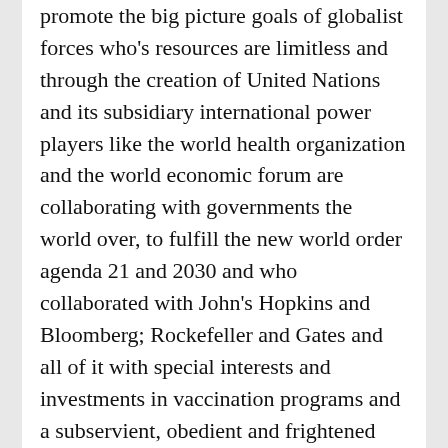promote the big picture goals of globalist forces who's resources are limitless and through the creation of United Nations and its subsidiary international power players like the world health organization and the world economic forum are collaborating with governments the world over, to fulfill the new world order agenda 21 and 2030 and who collaborated with John's Hopkins and Bloomberg; Rockefeller and Gates and all of it with special interests and investments in vaccination programs and a subservient, obedient and frightened public? There is no fool proof evidence supporting the theory that viruses exist as transmittable contagions. The inventor of